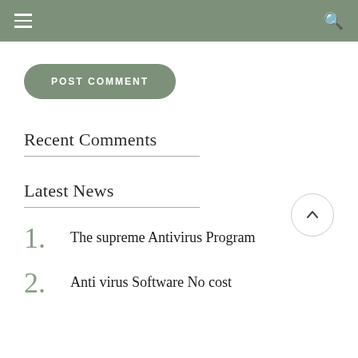Navigation bar with hamburger menu and search icon
POST COMMENT
Recent Comments
Latest News
1. The supreme Antivirus Program
2. Anti virus Software No cost